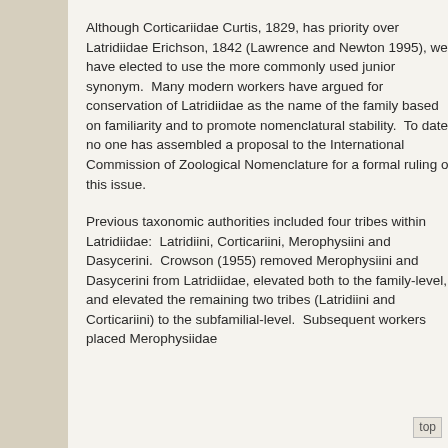Although Corticariidae Curtis, 1829, has priority over Latridiidae Erichson, 1842 (Lawrence and Newton 1995), we have elected to use the more commonly used junior synonym.  Many modern workers have argued for conservation of Latridiidae as the name of the family based on familiarity and to promote nomenclatural stability.  To date, no one has assembled a proposal to the International Commission of Zoological Nomenclature for a formal ruling on this issue.
Previous taxonomic authorities included four tribes within Latridiidae:  Latridiini, Corticariini, Merophysiini and Dasycerini.  Crowson (1955) removed Merophysiini and Dasycerini from Latridiidae, elevated both to the family-level, and elevated the remaining two tribes (Latridiini and Corticariini) to the subfamilial-level.  Subsequent workers placed Merophysiidae
top